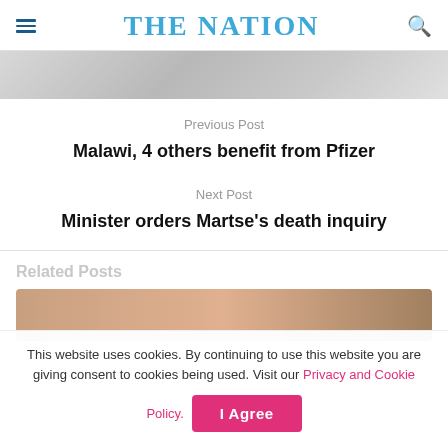THE NATION
[Figure (photo): Partial hero image, mostly greyed out, partially visible at top]
Previous Post
Malawi, 4 others benefit from Pfizer
Next Post
Minister orders Martse's death inquiry
Related Posts
[Figure (photo): Partial related post thumbnail image visible at bottom]
This website uses cookies. By continuing to use this website you are giving consent to cookies being used. Visit our Privacy and Cookie Policy.